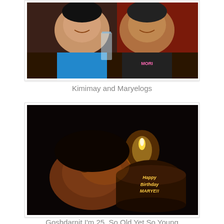[Figure (photo): Two women smiling at a restaurant table. One wears a blue t-shirt, the other a dark shirt with pink print. A glass and food are visible on the table.]
Kimimay and Maryelogs
[Figure (photo): A person resting their chin near a birthday cake with a lit candle in a dark setting. The cake reads 'Happy Birthday MARYE!!']
Goshdarnit I'm 25. So Old Yet So Young